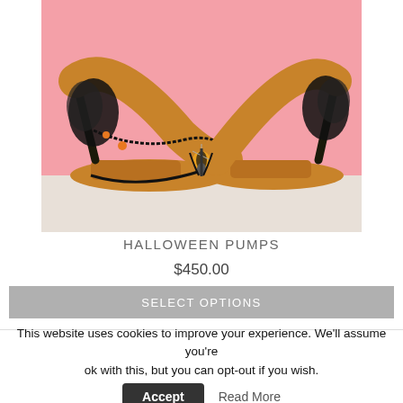[Figure (photo): Photo of orange/yellow Halloween platform high-heel pumps decorated with black lace, feathers, spider web, and spider charms, displayed against a pink background.]
HALLOWEEN PUMPS
$450.00
SELECT OPTIONS
This website uses cookies to improve your experience. We'll assume you're ok with this, but you can opt-out if you wish.  Accept  Read More